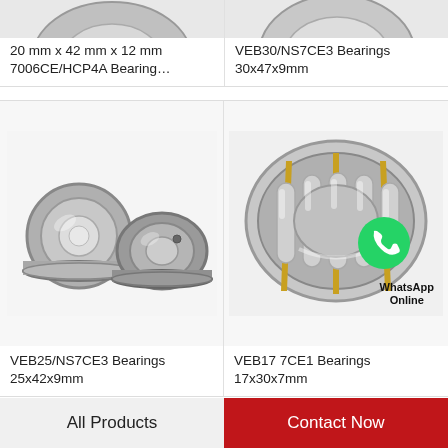20 mm x 42 mm x 12 mm 7006CE/HCP4A Bearing…
VEB30/NS7CE3 Bearings 30x47x9mm
[Figure (photo): Two small precision ball bearings (VEB25/NS7CE3), one ring-shaped and one flanged insert type, metallic silver finish]
VEB25/NS7CE3 Bearings 25x42x9mm
[Figure (photo): Angular contact cylindrical roller bearing (VEB17 7CE1) shown open with gold/silver cage, with WhatsApp Online badge overlay]
VEB17 7CE1 Bearings 17x30x7mm
All Products
Contact Now